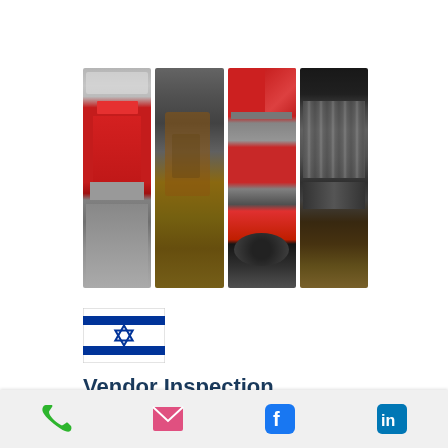[Figure (photo): Four vertical photo strips side by side showing industrial/engineering equipment: (1) red metal frame/machinery structure in a warehouse, (2) metal parts/equipment in a shipping container, (3) red truck or fire engine with a large spool/wheel, (4) dark interior of a shipping container with metal components and wood flooring]
[Figure (illustration): Israeli flag - blue and white with Star of David]
Vendor Inspection, Witness Testing, Quality Control
[Figure (infographic): Bottom navigation bar with four icons: green phone icon, pink/red envelope/email icon, blue Facebook icon, blue LinkedIn icon]